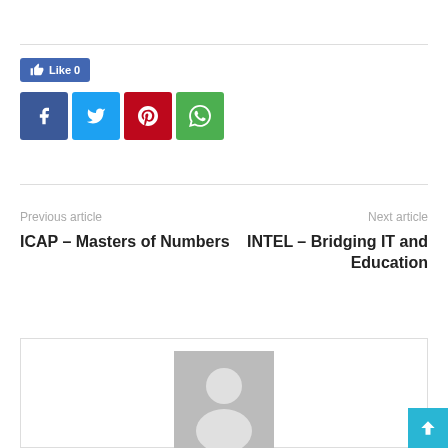[Figure (infographic): Social share buttons: Facebook Like button showing 0 likes, and four share icons for Facebook, Twitter, Pinterest, and WhatsApp]
Previous article
ICAP – Masters of Numbers
Next article
INTEL – Bridging IT and Education
[Figure (photo): Author avatar placeholder showing a grey silhouette of a person on a grey background]